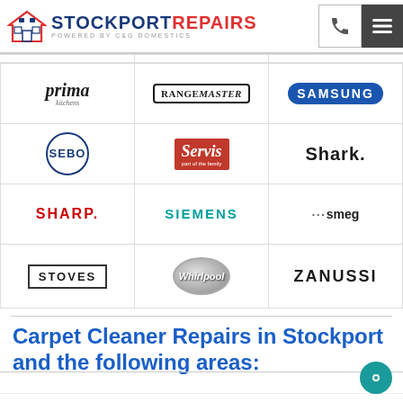[Figure (logo): Stockport Repairs logo with house/appliance icon, text STOCKPORT REPAIRS powered by C&G Domestics, phone icon and hamburger menu]
| prima kitchens | RANGEmaster | SAMSUNG |
| SEBO | Servis | Shark. |
| SHARP. | SIEMENS | ...smeg |
| STOVES | Whirlpool | ZANUSSI |
Carpet Cleaner Repairs in Stockport and the following areas: